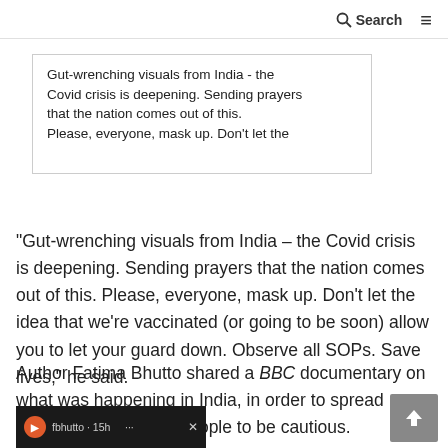Search
[Figure (screenshot): Screenshot of a social media post partially visible, showing text: 'Gut-wrenching visuals from India - the Covid crisis is deepening. Sending prayers that the nation comes out of this. Please, everyone, mask up. Don't let the...' (text cut off)]
"Gut-wrenching visuals from India – the Covid crisis is deepening. Sending prayers that the nation comes out of this. Please, everyone, mask up. Don't let the idea that we're vaccinated (or going to be soon) allow you to let your guard down. Observe all SOPs. Save lives," he said.
Author Fatima Bhutto shared a BBC documentary on what was happening in India, in order to spread awareness and urge people to be cautious.
[Figure (screenshot): Thumbnail of a social media post showing a dark background with an avatar icon labeled 'fbhutto 15h' and an X close button]